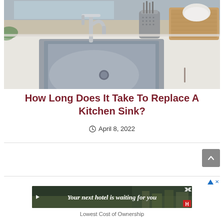[Figure (photo): Photo of a modern stainless steel undermount kitchen sink with a chrome faucet, utensil holder, and wooden cutting board on white countertop]
How Long Does It Take To Replace A Kitchen Sink?
April 8, 2022
[Figure (screenshot): Advertisement banner: 'Your next hotel is waiting for you' with hotel resort background image]
Lowest Cost of Ownership